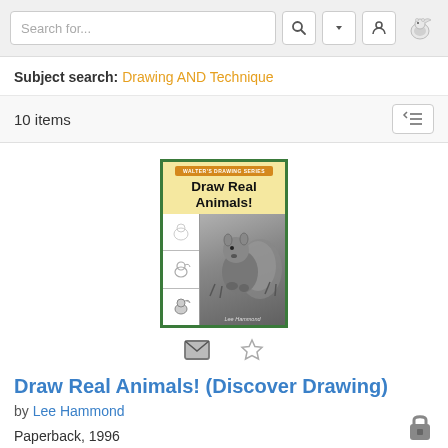Search for...
Subject search: Drawing AND Technique
10 items
[Figure (photo): Book cover of 'Draw Real Animals!' showing a squirrel illustration, part of the Discover Drawing series by Lee Hammond, with green border and yellow background. Below the cover are email and star/favorite icons.]
Draw Real Animals! (Discover Drawing)
by Lee Hammond
Paperback, 1996